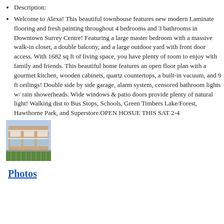Description:
Welcome to Alexa! This beautiful townhouse features new modern Laminate flooring and fresh painting throughout 4 bedrooms and 3 bathrooms in Downtown Surrey Centre! Featuring a large master bedroom with a massive walk-in closet, a double balcony, and a large outdoor yard with front door access. With 1682 sq ft of living space, you have plenty of room to enjoy with family and friends. This beautiful home features an open floor plan with a gourmet kitchen, wooden cabinets, quartz countertops, a built-in vacuum, and 9 ft ceilings! Double side by side garage, alarm system, censored bathroom lights w/ rain showerheads. Wide windows & patio doors provide plenty of natural light! Walking dist to Bus Stops, Schools, Green Timbers Lake/Forest, Hawthorne Park, and Superstore.OPEN HOSUE THIS SAT 2-4
[Figure (photo): Exterior photo of a townhouse building with balconies, white trim, and landscaping/hedges in the foreground]
Photos